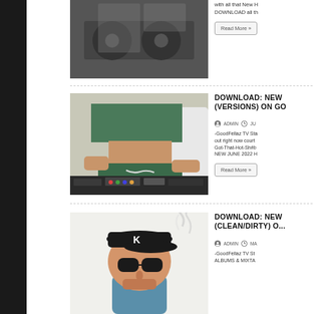[Figure (photo): DJ hands on turntable, partial top image]
with all that New H... DOWNLOAD all th...
Read More »
DOWNLOAD: NEW (VERSIONS) ON GO
ADMIN   JU...
[Figure (photo): Woman in green tube top and shorts at DJ equipment]
-GoodFellaz TV Sta... out right now court... Got-That-Hot-Sh#b... NEW JUNE 2022 H...
Read More »
DOWNLOAD: NEW (CLEAN/DIRTY) O...
ADMIN   MA...
[Figure (illustration): Cartoon character wearing K cap and sunglasses with smoke]
-GoodFellaz TV St... ALBUMS & MIXTA...